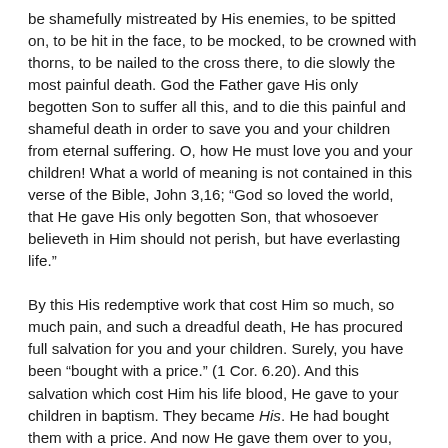be shamefully mistreated by His enemies, to be spitted on, to be hit in the face, to be mocked, to be crowned with thorns, to be nailed to the cross there, to die slowly the most painful death. God the Father gave His only begotten Son to suffer all this, and to die this painful and shameful death in order to save you and your children from eternal suffering. O, how He must love you and your children! What a world of meaning is not contained in this verse of the Bible, John 3,16; “God so loved the world, that He gave His only begotten Son, that whosoever believeth in Him should not perish, but have everlasting life.”
By this His redemptive work that cost Him so much, so much pain, and such a dreadful death, He has procured full salvation for you and your children. Surely, you have been “bought with a price.” (1 Cor. 6.20). And this salvation which cost Him his life blood, He gave to your children in baptism. They became His. He had bought them with a price. And now He gave them over to you, fathers and mothers and congregation, that you should